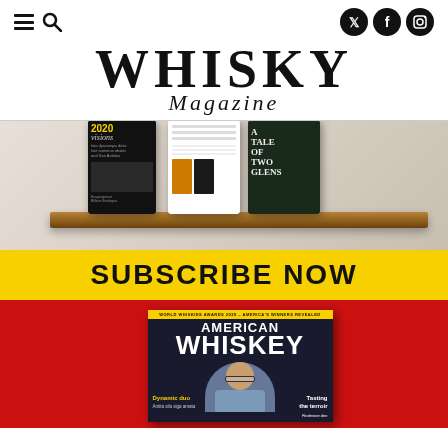Navigation icons: hamburger menu, search, Twitter, Facebook, Instagram
WHISKY Magazine
[Figure (photo): Three tablet devices displaying Whisky Magazine issues on a wooden shelf, showing '2020 visions', a list page, and 'A Tale of Two Glens' covers]
SUBSCRIBE NOW
[Figure (photo): American Whiskey magazine cover on red background, showing 'WORLD WHISKIES AWARDS 2020 - AMERICA'S WINNERS REVEALED' banner, Dynamic duo and Tasting the terroir headlines, with a man in glasses on the cover]